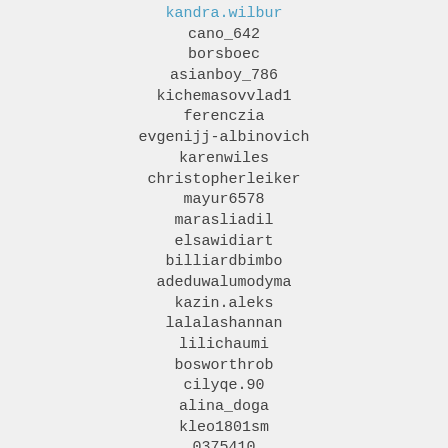kandra.wilbur
cano_642
borsboec
asianboy_786
kichemasovvlad1
ferenczia
evgenijj-albinovich
karenwiles
christopherleiker
mayur6578
marasliadil
elsawidiart
billiardbimbo
adeduwalumodyma
kazin.aleks
lalalashannan
lilichaumi
bosworthrob
cilyqe.90
alina_doga
kleo1801sm
0375410
loveujesus52
ekrazytee